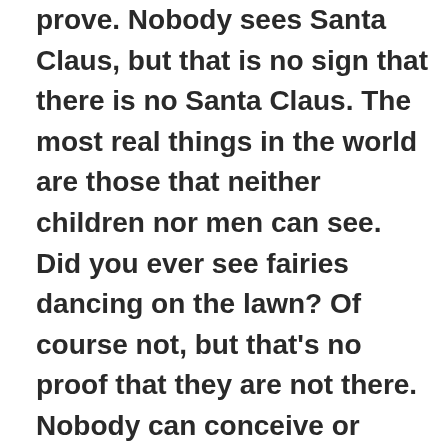prove. Nobody sees Santa Claus, but that is no sign that there is no Santa Claus. The most real things in the world are those that neither children nor men can see. Did you ever see fairies dancing on the lawn? Of course not, but that's no proof that they are not there. Nobody can conceive or imagine all the wonders there are unseen and unseeable in the world.

You tear apart the baby's rattle